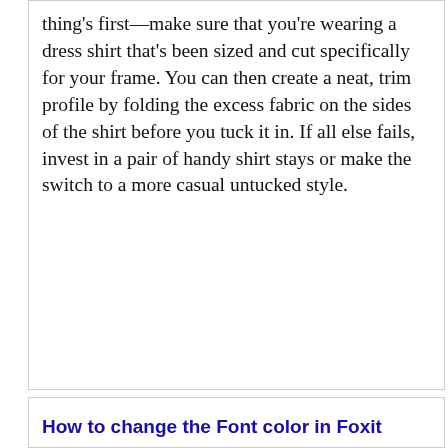thing's first—make sure that you're wearing a dress shirt that's been sized and cut specifically for your frame. You can then create a neat, trim profile by folding the excess fabric on the sides of the shirt before you tuck it in. If all else fails, invest in a pair of handy shirt stays or make the switch to a more casual untucked style.
How to change the Font color in Foxit